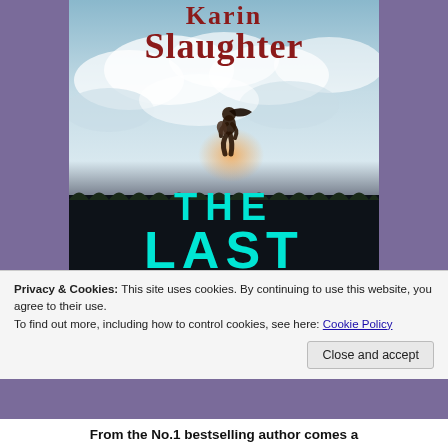[Figure (illustration): Book cover of 'The Last' by Karin Slaughter. Dark moody cover showing a silhouette of a woman running across a field against a dramatic cloudy sky. Author name 'Karin Slaughter' in large dark red text at top. Book title 'THE LAST' in large cyan/teal text at bottom.]
Privacy & Cookies: This site uses cookies. By continuing to use this website, you agree to their use.
To find out more, including how to control cookies, see here: Cookie Policy
Close and accept
From the No.1 bestselling author comes a